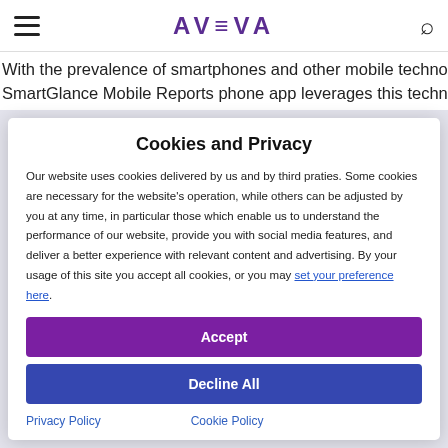AVEVA [navigation header with menu and search icons]
With the prevalence of smartphones and other mobile technologies, SmartGlance Mobile Reports phone app leverages this technology so
Cookies and Privacy
Our website uses cookies delivered by us and by third praties. Some cookies are necessary for the website’s operation, while others can be adjusted by you at any time, in particular those which enable us to understand the performance of our website, provide you with social media features, and deliver a better experience with relevant content and advertising. By your usage of this site you accept all cookies, or you may set your preference here.
Accept
Decline All
Privacy Policy
Cookie Policy